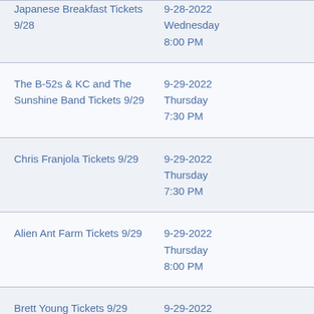| Event | Date/Time |
| --- | --- |
| Japanese Breakfast Tickets 9/28 | 9-28-2022
Wednesday
8:00 PM |
| The B-52s & KC and The Sunshine Band Tickets 9/29 | 9-29-2022
Thursday
7:30 PM |
| Chris Franjola Tickets 9/29 | 9-29-2022
Thursday
7:30 PM |
| Alien Ant Farm Tickets 9/29 | 9-29-2022
Thursday
8:00 PM |
| Brett Young Tickets 9/29 | 9-29-2022
Thursday
8:00 PM |
| Yacht Rock Revue Tickets 9/29 | 9-29-2022
Thursday
8:00 PM |
| Bob Weir and Wolf Bros Tickets 9/30 | 9-30-2022
Friday
7:00 PM |
| (partial row) | 9-30-2022 |